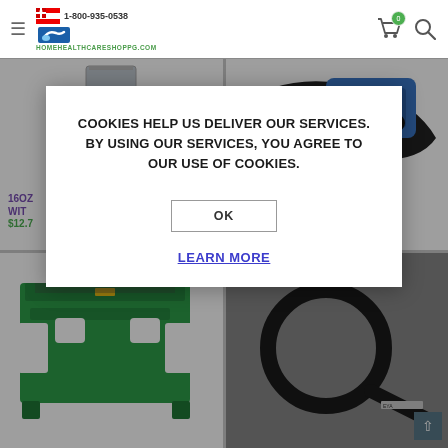homehealthcareshoppg.com — 1-800-935-0538
[Figure (screenshot): Website product grid with cookie consent modal overlay. Top-left shows a gray measuring beaker/cup. Top-right shows a black and blue blood pressure cuff. Bottom-left shows a green plastic step stool/riser. Bottom-right shows a magnifying glass on dark background.]
16OZ WITH
$12.7
COOKIES HELP US DELIVER OUR SERVICES. BY USING OUR SERVICES, YOU AGREE TO OUR USE OF COOKIES.
OK
LEARN MORE